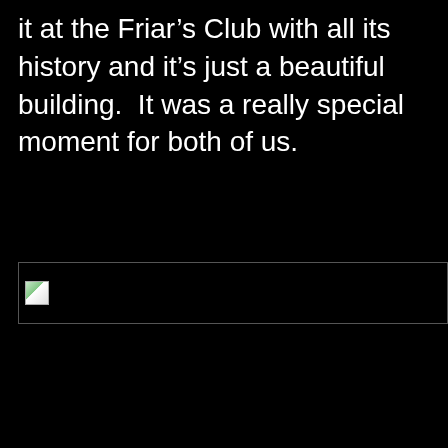it at the Friar’s Club with all its history and it’s just a beautiful building.  It was a really special moment for both of us.
[Figure (photo): A broken/unloaded image placeholder showing a small image icon with a partially visible landscape thumbnail on a black background.]